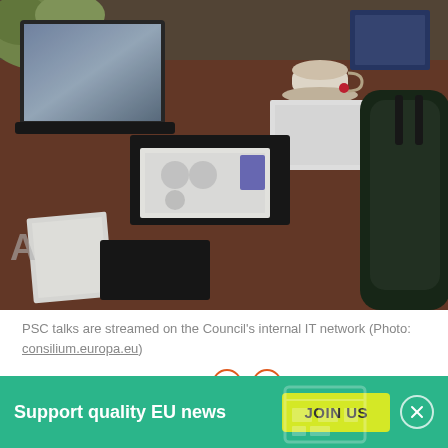[Figure (photo): A meeting room desk with laptop screens, a cup and saucer, documents, notebooks and a dark leather chair — a diplomatic or council meeting setting.]
PSC talks are streamed on the Council's internal IT network (Photo: consilium.europa.eu)
By ANDREW RETTMAN
BRUSSELS, 8. FEB 2016, 09:21
When EU ambassadors met in the Political and Security Committee (PSC) to discuss Middle East policy on 15 January, some of them didn't know there was in effect a